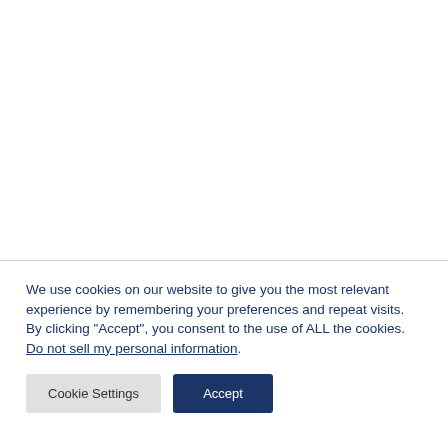We use cookies on our website to give you the most relevant experience by remembering your preferences and repeat visits. By clicking "Accept", you consent to the use of ALL the cookies. Do not sell my personal information.
Cookie Settings
Accept